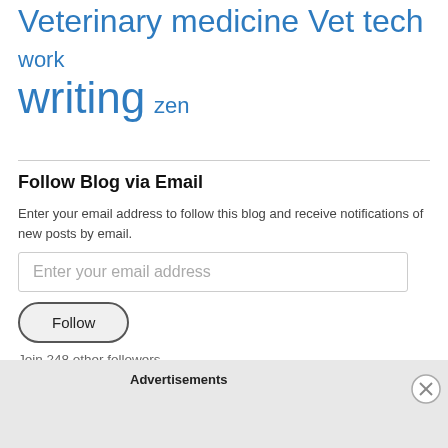Veterinary medicine Vet tech work writing zen
Follow Blog via Email
Enter your email address to follow this blog and receive notifications of new posts by email.
Enter your email address
Follow
Join 248 other followers
Advertisements